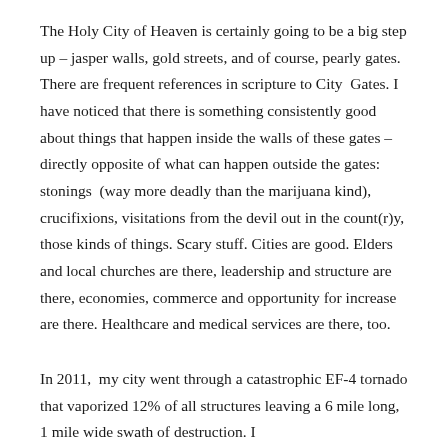The Holy City of Heaven is certainly going to be a big step up – jasper walls, gold streets, and of course, pearly gates. There are frequent references in scripture to City  Gates. I have noticed that there is something consistently good about things that happen inside the walls of these gates – directly opposite of what can happen outside the gates: stonings  (way more deadly than the marijuana kind), crucifixions, visitations from the devil out in the count(r)y, those kinds of things. Scary stuff. Cities are good. Elders and local churches are there, leadership and structure are there, economies, commerce and opportunity for increase are there. Healthcare and medical services are there, too.
In 2011,  my city went through a catastrophic EF-4 tornado that vaporized 12% of all structures leaving a 6 mile long, 1 mile wide swath of destruction. I